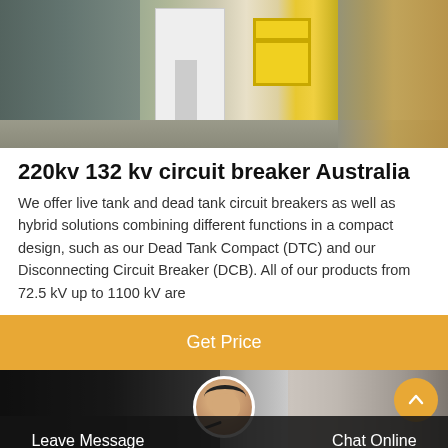[Figure (photo): Outdoor electrical substation construction scene with yellow equipment box and white building, workers visible]
220kv 132 kv circuit breaker Australia
We offer live tank and dead tank circuit breakers as well as hybrid solutions combining different functions in a compact design, such as our Dead Tank Compact (DTC) and our Disconnecting Circuit Breaker (DCB). All of our products from 72.5 kV up to 1100 kV are
[Figure (screenshot): Orange 'Get Price' button]
[Figure (photo): Bottom section with dark background showing machinery, customer service avatar, Leave Message and Chat Online buttons]